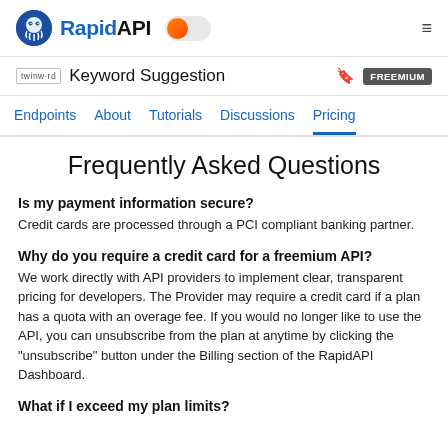RapidAPI — Keyword Suggestion FREEMIUM
Endpoints | About | Tutorials | Discussions | Pricing
Frequently Asked Questions
Is my payment information secure?
Credit cards are processed through a PCI compliant banking partner.
Why do you require a credit card for a freemium API?
We work directly with API providers to implement clear, transparent pricing for developers. The Provider may require a credit card if a plan has a quota with an overage fee. If you would no longer like to use the API, you can unsubscribe from the plan at anytime by clicking the "unsubscribe" button under the Billing section of the RapidAPI Dashboard.
What if I exceed my plan limits?